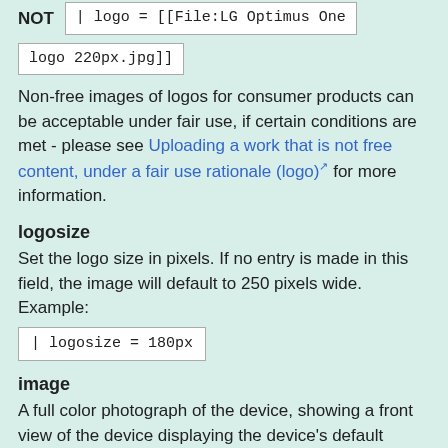NOT | logo = [[File:LG Optimus One logo 220px.jpg]]
Non-free images of logos for consumer products can be acceptable under fair use, if certain conditions are met - please see Uploading a work that is not free content, under a fair use rationale (logo) for more information.
logosize
Set the logo size in pixels. If no entry is made in this field, the image will default to 250 pixels wide. Example:
| logosize = 180px
image
A full color photograph of the device, showing a front view of the device displaying the device's default home screen with applications, widgets, shortcuts, etc. as the device leaves the factory, without individual user customizations. Use the file